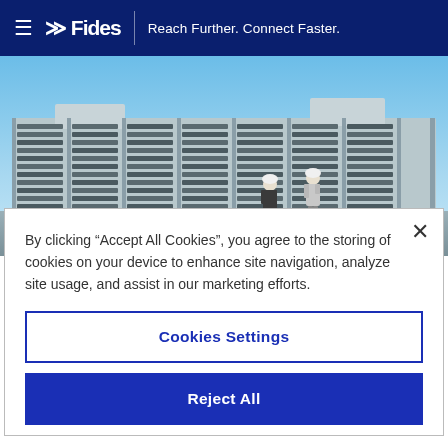≫ Fides | Reach Further. Connect Faster.
[Figure (photo): Two workers in hard hats inspecting large outdoor server/telecommunications equipment racks against a clear blue sky.]
By clicking "Accept All Cookies", you agree to the storing of cookies on your device to enhance site navigation, analyze site usage, and assist in our marketing efforts.
Cookies Settings
Reject All